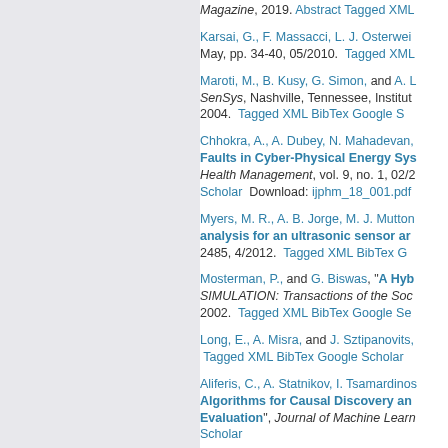Magazine, 2019. Abstract Tagged XML
Karsai, G., F. Massacci, L. J. Osterwei... May, pp. 34-40, 05/2010. Tagged XML
Maroti, M., B. Kusy, G. Simon, and A. L... SenSys, Nashville, Tennessee, Institute... 2004. Tagged XML BibTex Google Se...
Chhokra, A., A. Dubey, N. Mahadevan, ... Faults in Cyber-Physical Energy Sys... Health Management, vol. 9, no. 1, 02/2... Scholar Download: ijphm_18_001.pdf
Myers, M. R., A. B. Jorge, M. J. Mutton... analysis for an ultrasonic sensor ar... 2485, 4/2012. Tagged XML BibTex G...
Mosterman, P., and G. Biswas, "A Hyb... SIMULATION: Transactions of the Soc... 2002. Tagged XML BibTex Google Se...
Long, E., A. Misra, and J. Sztipanovits, ... Tagged XML BibTex Google Scholar
Aliferis, C., A. Statnikov, I. Tsamardinos... Algorithms for Causal Discovery and... Evaluation", Journal of Machine Learn... Scholar